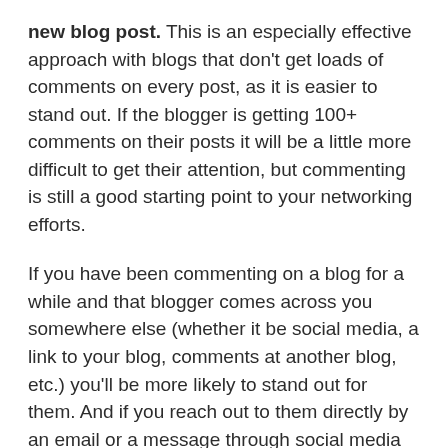new blog post. This is an especially effective approach with blogs that don't get loads of comments on every post, as it is easier to stand out. If the blogger is getting 100+ comments on their posts it will be a little more difficult to get their attention, but commenting is still a good starting point to your networking efforts.
If you have been commenting on a blog for a while and that blogger comes across you somewhere else (whether it be social media, a link to your blog, comments at another blog, etc.) you'll be more likely to stand out for them. And if you reach out to them directly by an email or a message through social media they will be more likely to feel like they know you.